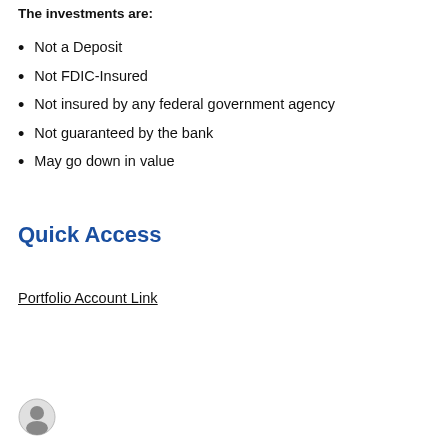The investments are:
Not a Deposit
Not FDIC-Insured
Not insured by any federal government agency
Not guaranteed by the bank
May go down in value
Quick Access
Portfolio Account Link
[Figure (illustration): User account avatar icon at bottom left of page]